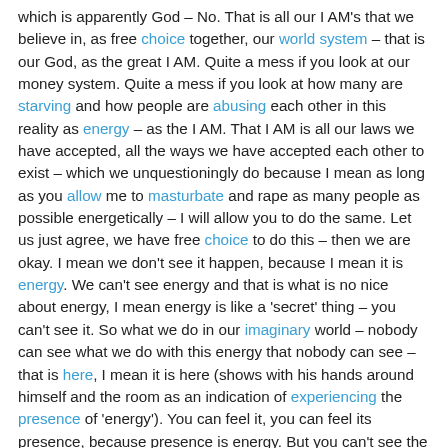which is apparently God – No. That is all our I AM's that we believe in, as free choice together, our world system – that is our God, as the great I AM. Quite a mess if you look at our money system. Quite a mess if you look at how many are starving and how people are abusing each other in this reality as energy – as the I AM. That I AM is all our laws we have accepted, all the ways we have accepted each other to exist – which we unquestioningly do because I mean as long as you allow me to masturbate and rape as many people as possible energetically – I will allow you to do the same. Let us just agree, we have free choice to do this – then we are okay. I mean we don't see it happen, because I mean it is energy. We can't see energy and that is what is no nice about energy, I mean energy is like a 'secret' thing – you can't see it. So what we do in our imaginary world – nobody can see what we do with this energy that nobody can see – that is here, I mean it is here (shows with his hands around himself and the room as an indication of experiencing the presence of 'energy'). You can feel it, you can feel its presence, because presence is energy. But you can't see the presence.